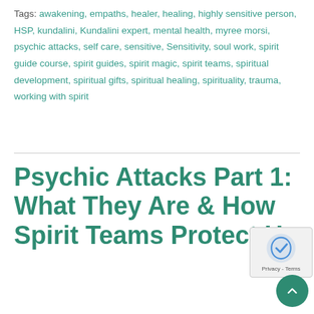Tags: awakening, empaths, healer, healing, highly sensitive person, HSP, kundalini, Kundalini expert, mental health, myree morsi, psychic attacks, self care, sensitive, Sensitivity, soul work, spirit guide course, spirit guides, spirit magic, spirit teams, spiritual development, spiritual gifts, spiritual healing, spirituality, trauma, working with spirit
Psychic Attacks Part 1: What They Are & How Spirit Teams Protect Us